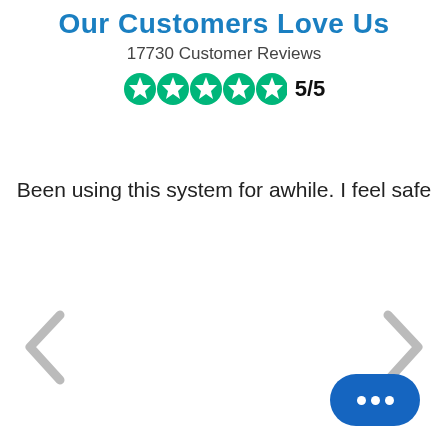Our Customers Love Us
17730 Customer Reviews
[Figure (other): Five green star rating icons with score 5/5]
Been using this system for awhile. I feel safe